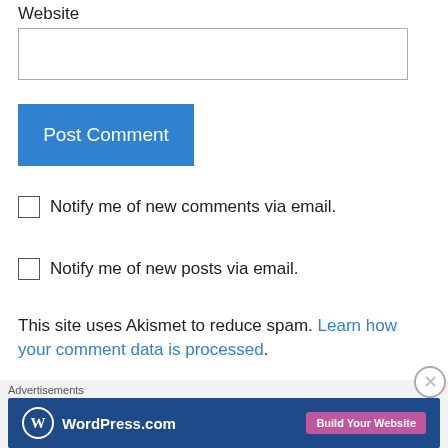Website
[Figure (screenshot): Website text input field (empty, white background with grey border)]
[Figure (screenshot): Blue 'Post Comment' button]
Notify me of new comments via email.
Notify me of new posts via email.
This site uses Akismet to reduce spam. Learn how your comment data is processed.
OIKOS™-Redaktion on June 15, 2017 at 11:57 pm
[Figure (screenshot): WordPress.com advertisement banner with 'Build Your Website' button]